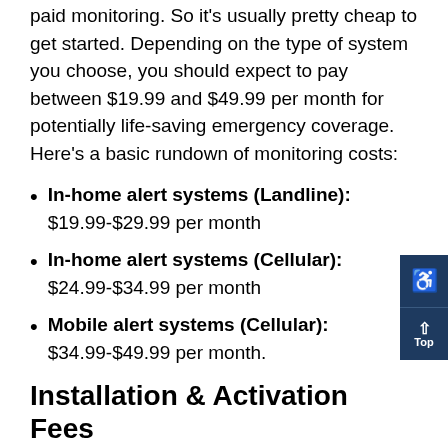paid monitoring. So it's usually pretty cheap to get started. Depending on the type of system you choose, you should expect to pay between $19.99 and $49.99 per month for potentially life-saving emergency coverage. Here's a basic rundown of monitoring costs:
In-home alert systems (Landline): $19.99-$29.99 per month
In-home alert systems (Cellular): $24.99-$34.99 per month
Mobile alert systems (Cellular): $34.99-$49.99 per month.
Installation & Activation Fees
Some companies like LifeAlert monitoring